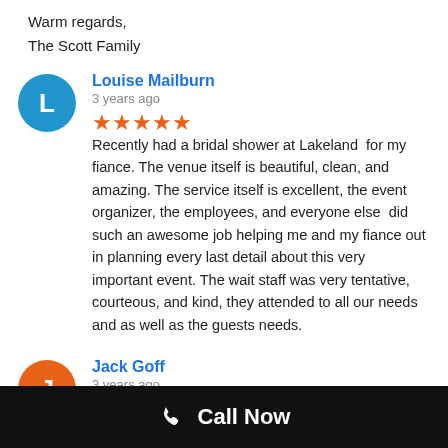Warm regards,
The Scott Family
Louise Mailburn
3 years ago
★★★★★ Recently had a bridal shower at Lakeland for my fiance. The venue itself is beautiful, clean, and amazing. The service itself is excellent, the event organizer, the employees, and everyone else did such an awesome job helping me and my fiance out in planning every last detail about this very important event. The wait staff was very tentative, courteous, and kind, they attended to all our needs and as well as the guests needs.
Jack Goff
3 years ago
★★★★★ We were so excited to have our family reunion party at Lakeland Manor. I was overcome by the amazing food and
Call Now